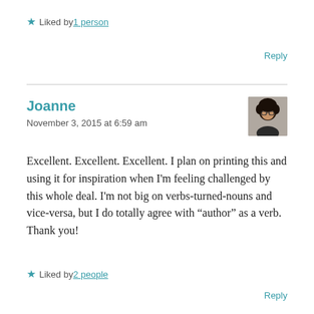★ Liked by 1 person
Reply
Joanne
November 3, 2015 at 6:59 am
[Figure (photo): Avatar photo of Joanne, a person with dark curly hair and glasses]
Excellent. Excellent. Excellent. I plan on printing this and using it for inspiration when I'm feeling challenged by this whole deal. I'm not big on verbs-turned-nouns and vice-versa, but I do totally agree with “author” as a verb. Thank you!
★ Liked by 2 people
Reply